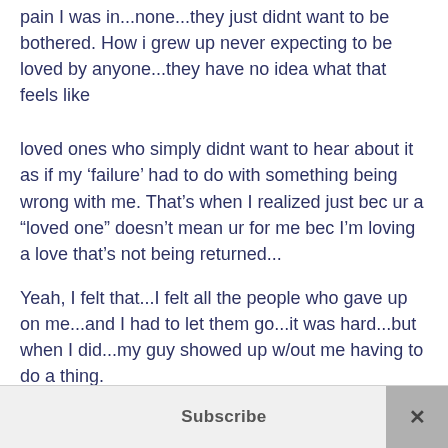pain I was in...none...they just didnt want to be bothered. How i grew up never expecting to be loved by anyone...they have no idea what that feels like
loved ones who simply didnt want to hear about it as if my ‘failure’ had to do with something being wrong with me. That’s when I realized just bec ur a “loved one” doesn’t mean ur for me bec I’m loving a love that’s not being returned...
Yeah, I felt that...I felt all the people who gave up on me...and I had to let them go...it was hard...but when I did...my guy showed up w/out me having to do a thing.
Subscribe